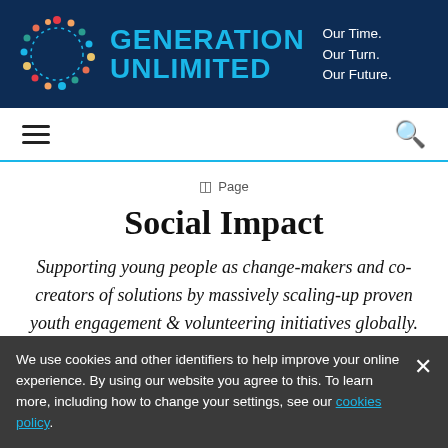[Figure (logo): Generation Unlimited logo — circular dashed ring of colored dots on dark blue header background, beside bold cyan text 'GENERATION UNLIMITED' and white tagline 'Our Time. Our Turn. Our Future.']
☰   🔍
⊟ Page
Social Impact
Supporting young people as change-makers and co-creators of solutions by massively scaling-up proven youth engagement & volunteering initiatives globally.
We use cookies and other identifiers to help improve your online experience. By using our website you agree to this. To learn more, including how to change your settings, see our cookies policy.